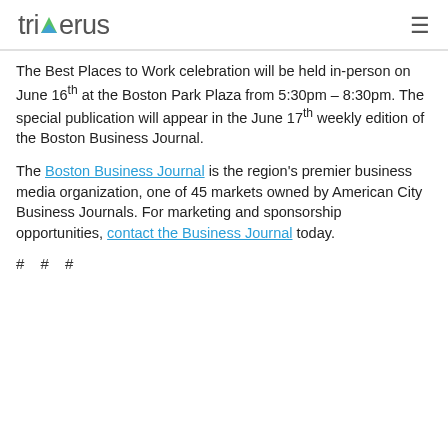triverus [logo with navigation hamburger menu]
The Best Places to Work celebration will be held in-person on June 16th at the Boston Park Plaza from 5:30pm – 8:30pm. The special publication will appear in the June 17th weekly edition of the Boston Business Journal.
The Boston Business Journal is the region's premier business media organization, one of 45 markets owned by American City Business Journals. For marketing and sponsorship opportunities, contact the Business Journal today.
# # #